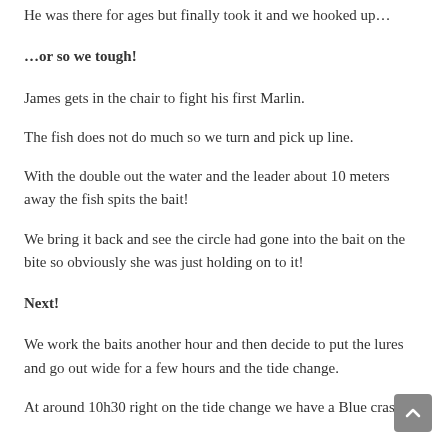He was there for ages but finally took it and we hooked up…
…or so we tough!
James gets in the chair to fight his first Marlin.
The fish does not do much so we turn and pick up line.
With the double out the water and the leader about 10 meters away the fish spits the bait!
We bring it back and see the circle had gone into the bait on the bite so obviously she was just holding on to it!
Next!
We work the baits another hour and then decide to put the lures and go out wide for a few hours and the tide change.
At around 10h30 right on the tide change we have a Blue crash…